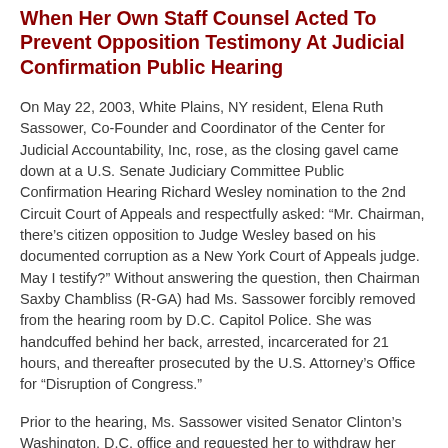When Her Own Staff Counsel Acted To Prevent Opposition Testimony At Judicial Confirmation Public Hearing
On May 22, 2003, White Plains, NY resident, Elena Ruth Sassower, Co-Founder and Coordinator of the Center for Judicial Accountability, Inc, rose, as the closing gavel came down at a U.S. Senate Judiciary Committee Public Confirmation Hearing Richard Wesley nomination to the 2nd Circuit Court of Appeals and respectfully asked: “Mr. Chairman, there’s citizen opposition to Judge Wesley based on his documented corruption as a New York Court of Appeals judge. May I testify?” Without answering the question, then Chairman Saxby Chambliss (R-GA) had Ms. Sassower forcibly removed from the hearing room by D.C. Capitol Police. She was handcuffed behind her back, arrested, incarcerated for 21 hours, and thereafter prosecuted by the U.S. Attorney’s Office for “Disruption of Congress.”
Prior to the hearing, Ms. Sassower visited Senator Clinton’s Washington, D.C. office and requested her to withdraw her